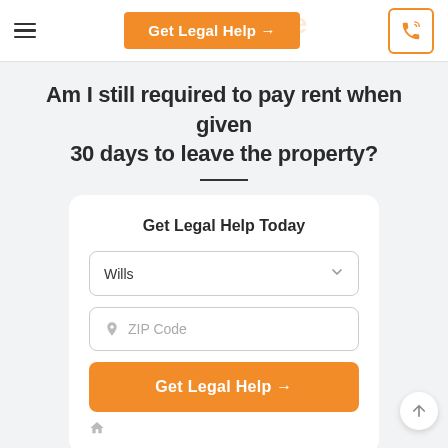Get Legal Help →
Am I still required to pay rent when given 30 days to leave the property?
Get Legal Help Today
Wills
ZIP Code
Get Legal Help →